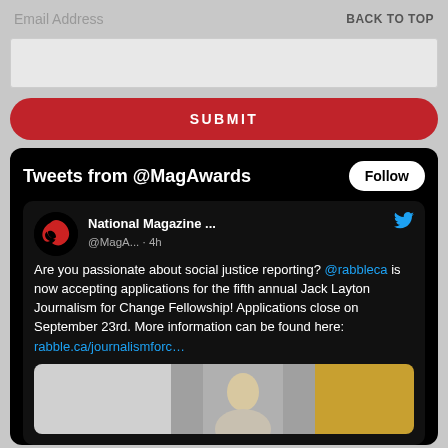Email Address
BACK TO TOP
SUBMIT
[Figure (screenshot): Twitter/X widget showing tweets from @MagAwards with a Follow button, and a tweet from National Magazine (@MagA...) posted 4h ago: 'Are you passionate about social justice reporting? @rabbleca is now accepting applications for the fifth annual Jack Layton Journalism for Change Fellowship! Applications close on September 23rd. More information can be found here: rabble.ca/journalismforc...' with a partial image showing a person's face.]